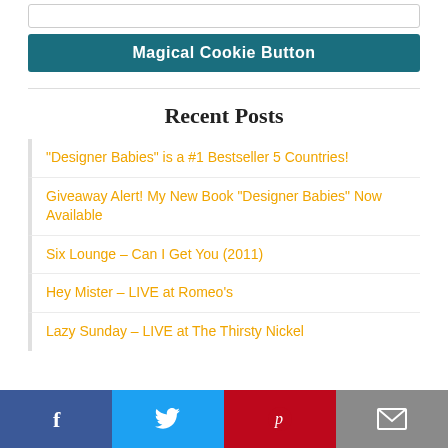[Figure (other): Input text box (empty)]
Magical Cookie Button
Recent Posts
“Designer Babies” is a #1 Bestseller 5 Countries!
Giveaway Alert! My New Book “Designer Babies” Now Available
Six Lounge – Can I Get You (2011)
Hey Mister – LIVE at Romeo’s
Lazy Sunday – LIVE at The Thirsty Nickel
[Figure (other): Social sharing bar with Facebook, Twitter, Pinterest, and Email buttons]